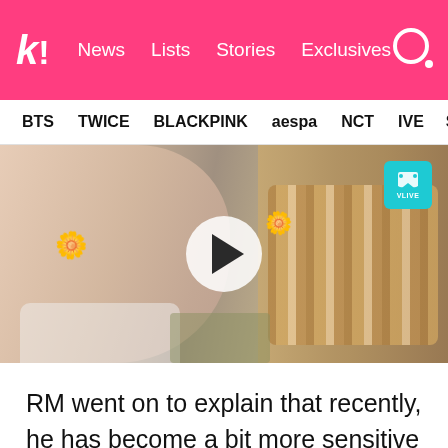k! News Lists Stories Exclusives
BTS TWICE BLACKPINK aespa NCT IVE SHINE
[Figure (screenshot): Video thumbnail showing two people with flower accessories on a V LIVE stream, with a play button overlay in the center. Left person wears a white top, right person wears a striped jacket. Both have yellow flower decorations near their ears.]
RM went on to explain that recently, he has become a bit more sensitive to the sounds